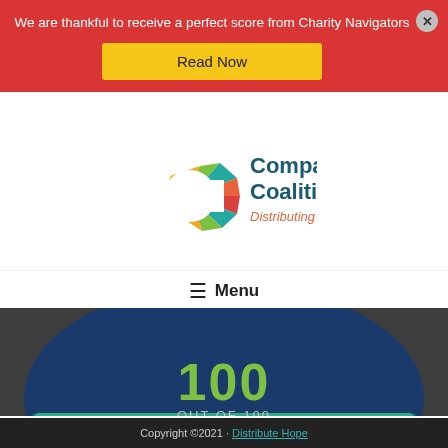We are thankful to receive a perfect score from Charity Navigators
Read Now
[Figure (logo): Compassion Coalition logo with colorful C icon and text 'Compassion Coalition Distributing Hope']
Menu
[Figure (infographic): Charity Navigator badge showing 100 OUT OF 100, GIVE WITH CONFIDENCE, VERSION 2, on dark background]
Copyright ©2021 · Distribute Hope